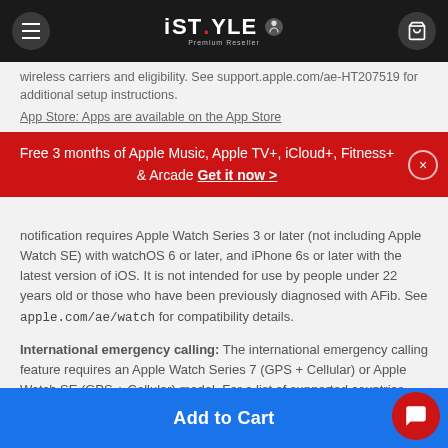iSTYLE | Apple Premium Reseller
wireless carriers and eligibility. See support.apple.com/ae-HT207519 for additional setup instructions.
App Store: Apps are available on the App Store
Free 3 months of Apple Music, Apple TV+, iCloud+, Fitness+ & Arcade Get it now >
notification requires Apple Watch Series 3 or later (not including Apple Watch SE) with watchOS 6 or later, and iPhone 6s or later with the latest version of iOS. It is not intended for use by people under 22 years old or those who have been previously diagnosed with AFib. See apple.com/ae/watch for compatibility details.
International emergency calling: The international emergency calling feature requires an Apple Watch Series 7 (GPS + Cellular) or Apple Watch SE (GPS + Cellular) model. For a list of supported countries and regions, see apple.com/ae/watchos/feature-availability.
Faster charge: Testing conducted by Apple in August 2021...
Add to Cart